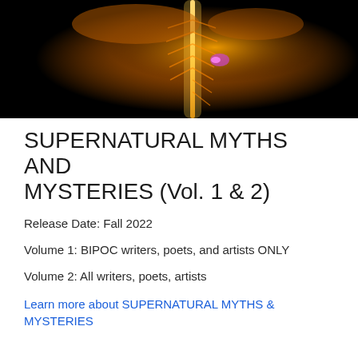[Figure (photo): Glowing orange/gold spine or skeletal structure against black background with purple highlight]
SUPERNATURAL MYTHS AND MYSTERIES (Vol. 1 & 2)
Release Date: Fall 2022
Volume 1: BIPOC writers, poets, and artists ONLY
Volume 2: All writers, poets, artists
Learn more about SUPERNATURAL MYTHS & MYSTERIES